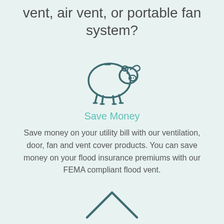vent, air vent, or portable fan system?
[Figure (illustration): Outline icon of a piggy bank in dark teal/slate color]
Save Money
Save money on your utility bill with our ventilation, door, fan and vent cover products. You can save money on your flood insurance premiums with our FEMA compliant flood vent.
[Figure (illustration): Outline icon of a house roof/chevron shape in dark teal/slate color, partially visible at bottom]